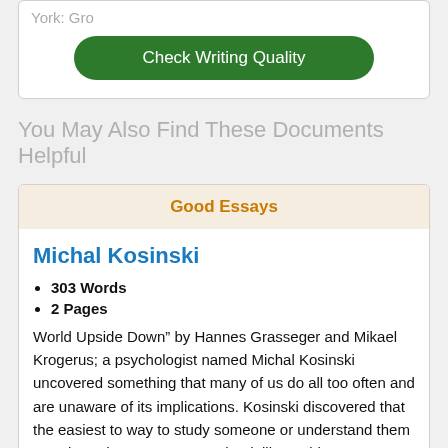York: Gro…
Check Writing Quality
You May Also Find These Documents Helpful
Good Essays
Michal Kosinski
303 Words
2 Pages
World Upside Down” by Hannes Grasseger and Mikael Krogerus; a psychologist named Michal Kosinski uncovered something that many of us do all too often and are unaware of its implications. Kosinski discovered that the easiest to way to study someone or understand them was through a person’s Facebook likes. This new-